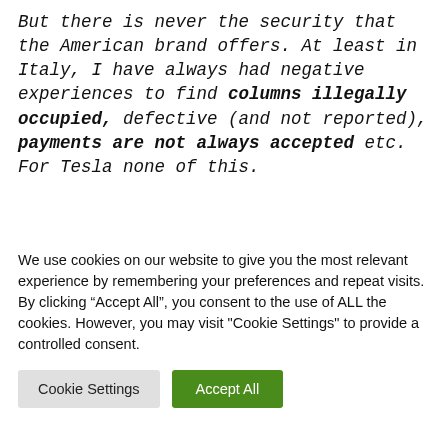But there is never the security that the American brand offers. At least in Italy, I have always had negative experiences to find columns illegally occupied, defective (and not reported), payments are not always accepted etc. For Tesla none of this.
You know where you go, where you stop, how much you fill up, when you use ... all with one platform"
We use cookies on our website to give you the most relevant experience by remembering your preferences and repeat visits. By clicking “Accept All”, you consent to the use of ALL the cookies. However, you may visit "Cookie Settings" to provide a controlled consent.